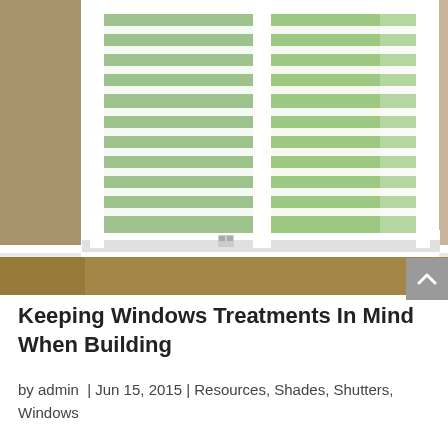[Figure (photo): Interior room photo showing a large double window with white plantation shutters partially open, revealing green outdoor vegetation. The room has beige/tan walls, white baseboard trim, and hardwood flooring visible at the bottom.]
Keeping Windows Treatments In Mind When Building
by admin | Jun 15, 2015 | Resources, Shades, Shutters, Windows